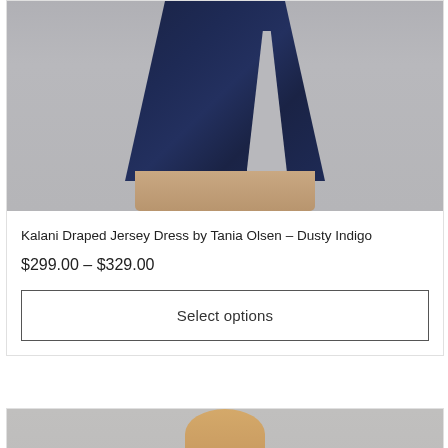[Figure (photo): Lower half of a model wearing a navy/dusty indigo draped jersey maxi dress with a high slit, showing bare feet with sandals on a light grey background]
Kalani Draped Jersey Dress by Tania Olsen – Dusty Indigo
$299.00 – $329.00
Select options
[Figure (photo): Partial view of a second product card showing a model from shoulders up with blonde hair, grey background — product details cut off]